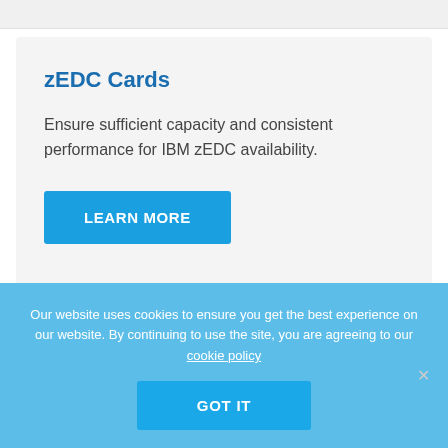zEDC Cards
Ensure sufficient capacity and consistent performance for IBM zEDC availability.
LEARN MORE
Our website uses cookies to ensure you get the best experience on our website. By continuing to use the site, you are agreeing to our cookie policy
GOT IT